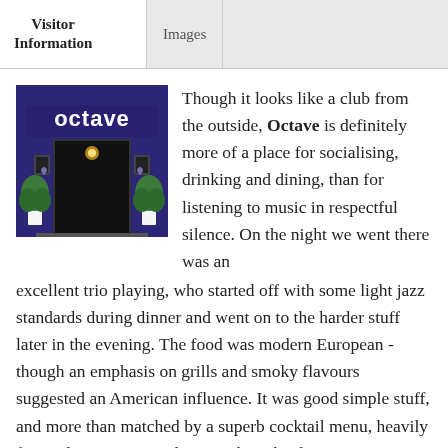Visitor Information | Images
[Figure (photo): Exterior night photo of Octave venue showing illuminated 'octave' sign in white letters on a purple/blue facade with decorative plants at the entrance]
Though it looks like a club from the outside, Octave is definitely more of a place for socialising, drinking and dining, than for listening to music in respectful silence. On the night we went there was an excellent trio playing, who started off with some light jazz standards during dinner and went on to the harder stuff later in the evening. The food was modern European - though an emphasis on grills and smoky flavours suggested an American influence. It was good simple stuff, and more than matched by a superb cocktail menu, heavily focused on mojitos and caipirinhas, that kept us at